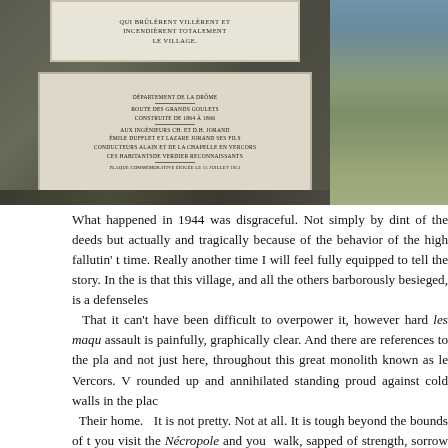[Figure (photo): Left photo: A stone memorial wall with two plaques embedded in it. The upper plaque reads text in French about the village being burned. The lower plaque is a departmental commemoration plaque with multiple lines of French text. Right photo: An open green field or landscape with some blue elements visible in the background.]
What happened in 1944 was disgraceful.  Not simply by dint of the deeds but actually and tragically because of the behavior of the high fallutin' t time.  Really another time I will feel fully equipped to tell the story.  In the is that this village, and all the others barborously besieged, is a defenseles  That it can't have been difficult to overpower it, however hard les maqu assault is painfully, graphically clear.  And there are references to the pla and not just here, throughout this great monolith known as le Vercors.  V rounded up and annihilated standing proud against cold walls in the plac  Their home.   It is not pretty.  Not at all.  It is tough beyond the bounds of t you visit the Nécropole and you  walk, sapped of strength, sorrow wrench